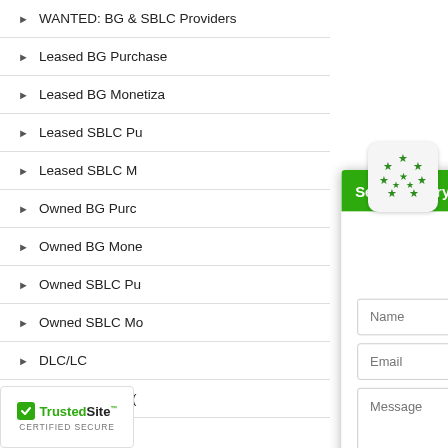WANTED: BG & SBLC Providers
Leased BG Purchase
Leased BG Monetization
Leased SBLC Purchase
Leased SBLC Monetization
Owned BG Purchase
Owned BG Monetization
Owned SBLC Purchase
Owned SBLC Monetization
DLC/LC
Letter of Credit (LC)
[Figure (screenshot): Secure Encrypted Chat widget popup with header 'Secure Encrypted Chat - Write Now', introductory text 'Our Financial Instrument Expert is waiting to help you............... MESSAGE US NOW!', form fields for Name, Email, and Message, a consent checkbox, and a Send message button. Above the widget is a rounded icon with green stars arranged in a circle.]
[Figure (logo): TrustedSite CERTIFIED SECURE badge with green checkmark]